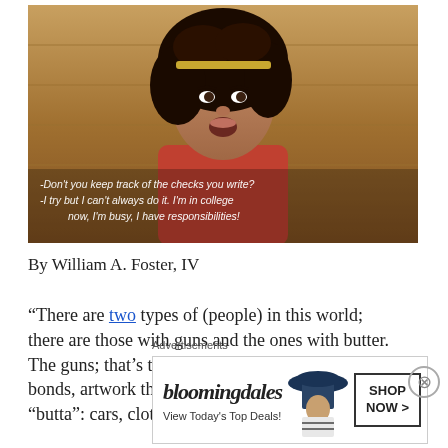[Figure (photo): Screenshot of a TV show scene showing a young woman with curly hair and a headband, with white subtitle text overlay reading: -Don't you keep track of the checks you write? -I try but I can't always do it. I'm in college now, I'm busy, I have responsibilities!]
By William A. Foster, IV
“There are two types of (people) in this world; there are those with guns and the ones with butter. The guns; that’s the real estate, the stocks and bonds, artwork that appreciates with value. The “butta”: cars, clothes, jewelry that
Advertisements
[Figure (other): Bloomingdale's advertisement banner: logo text 'bloomingdales', subtext 'View Today's Top Deals!', image of woman with wide-brim hat, button 'SHOP NOW >']